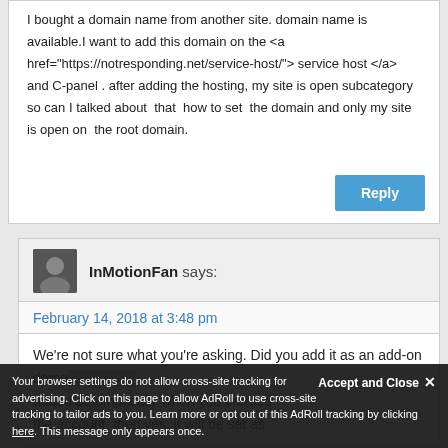I bought a domain name from another site. domain name is available.I want to add this domain on the <a href="https://notresponding.net/service-host/"> service host </a> and C-panel . after adding the hosting, my site is open subcategory so can I talked about that how to set the domain and only my site is open on the root domain.
Reply
InMotionFan says:
February 14, 2018 at 3:48 pm
We're not sure what you're asking. Did you add it as an add-on domain or was it added automatically when you created the account, then yes, it will be set as
Your browser settings do not allow cross-site tracking for advertising. Click on this page to allow AdRoll to use cross-site tracking to tailor ads to you. Learn more or opt out of this AdRoll tracking by clicking here. This message only appears once.